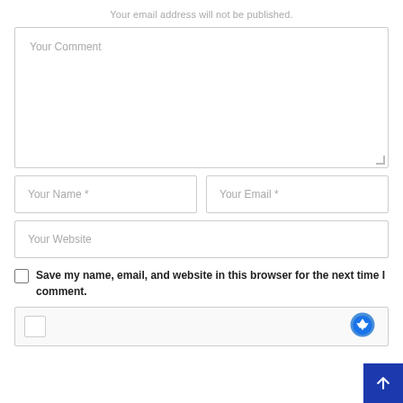Your email address will not be published.
[Figure (other): Comment text area input field with placeholder text 'Your Comment' and resize handle]
[Figure (other): Two inline input fields: 'Your Name *' and 'Your Email *']
[Figure (other): Website input field with placeholder 'Your Website']
Save my name, email, and website in this browser for the next time I comment.
[Figure (other): reCAPTCHA widget box with checkbox and Google reCAPTCHA logo]
[Figure (other): Back to top button (dark blue square with white arrow icon)]